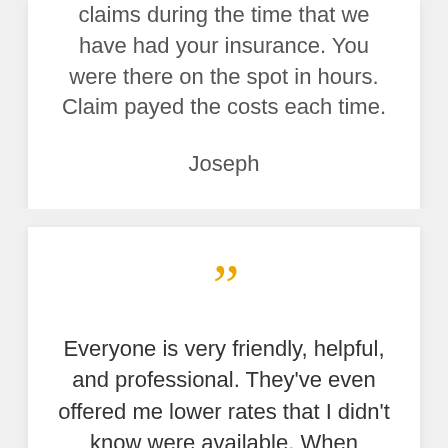claims during the time that we have had your insurance. You were there on the spot in hours. Claim payed the costs each time.
Joseph
[Figure (illustration): Closing double quotation mark symbol in gold/yellow color]
Everyone is very friendly, helpful, and professional. They've even offered me lower rates that I didn't know were available. When